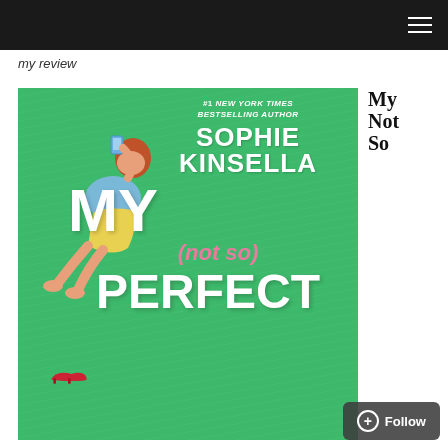my review
my review
[Figure (illustration): Book cover of 'My (Not So) Perfect' by Sophie Kinsella, #1 New York Times Bestselling Author. Green chalkboard background with illustration of a woman lying down taking a selfie with red heels nearby.]
My Not So
Follow